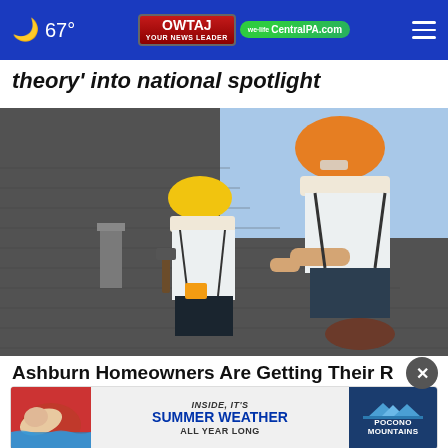🌙 67° | WTAJ Your News Leader | CentralPA.com
theory' into national spotlight
[Figure (photo): Two construction workers in hard hats (orange and yellow) working on a residential roof with dark shingles. A chimney is visible in the background.]
Ashburn Homeowners Are Getting Their R
Rep
SmartConsumerInsider.com
[Figure (photo): Advertisement banner: swimmer on left, text reads 'INSIDE, IT'S SUMMER WEATHER ALL YEAR LONG', Pocono Mountains logo on right]